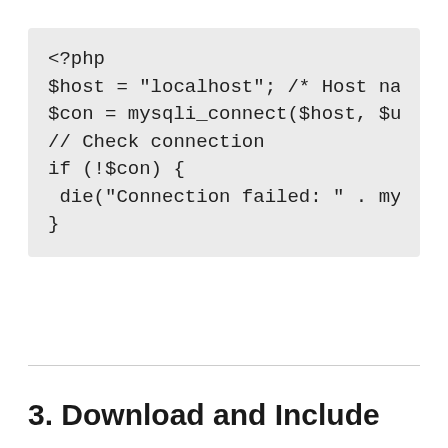[Figure (screenshot): PHP code block on light grey background showing database connection code: <?php, $host = "localhost"; /* Host name */, $con = mysqli_connect($host, $user..., // Check connection, if (!$con) {, die("Connection failed: " . mysqli_co..., }]
3. Download and Include
Download jQuery and jQuery UI